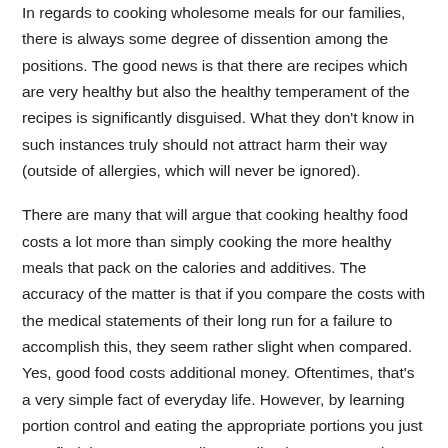In regards to cooking wholesome meals for our families, there is always some degree of dissention among the positions. The good news is that there are recipes which are very healthy but also the healthy temperament of the recipes is significantly disguised. What they don't know in such instances truly should not attract harm their way (outside of allergies, which will never be ignored).
There are many that will argue that cooking healthy food costs a lot more than simply cooking the more healthy meals that pack on the calories and additives. The accuracy of the matter is that if you compare the costs with the medical statements of their long run for a failure to accomplish this, they seem rather slight when compared. Yes, good food costs additional money. Oftentimes, that's a very simple fact of everyday life. However, by learning portion control and eating the appropriate portions you just may find that you're actually spending less as you adapt to the proper amounts of food that you must be consuming in order to keep a balanced and busy way of life.